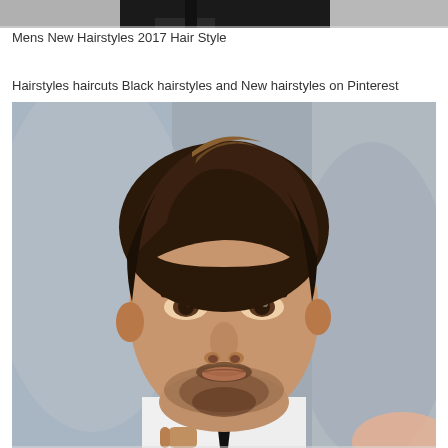[Figure (photo): Cropped top portion of a man in formal dark clothing, partially visible at top of page]
Mens New Hairstyles 2017 Hair Style
Hairstyles haircuts Black hairstyles and New hairstyles on Pinterest
[Figure (photo): Close-up portrait of a young man with styled voluminous brown hair swept upward, dark eyebrows, beard stubble and mustache, wearing a white shirt and black tie, adjusting his tie with one hand]